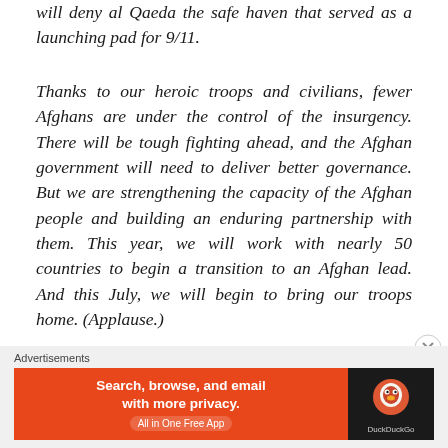will deny al Qaeda the safe haven that served as a launching pad for 9/11.
Thanks to our heroic troops and civilians, fewer Afghans are under the control of the insurgency. There will be tough fighting ahead, and the Afghan government will need to deliver better governance. But we are strengthening the capacity of the Afghan people and building an enduring partnership with them. This year, we will work with nearly 50 countries to begin a transition to an Afghan lead. And this July, we will begin to bring our troops home. (Applause.)
Advertisements
[Figure (other): DuckDuckGo advertisement banner: 'Search, browse, and email with more privacy. All in One Free App' with DuckDuckGo logo on dark background.]